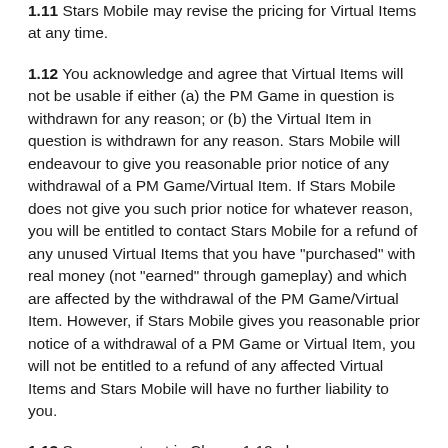1.11 Stars Mobile may revise the pricing for Virtual Items at any time.
1.12 You acknowledge and agree that Virtual Items will not be usable if either (a) the PM Game in question is withdrawn for any reason; or (b) the Virtual Item in question is withdrawn for any reason. Stars Mobile will endeavour to give you reasonable prior notice of any withdrawal of a PM Game/Virtual Item. If Stars Mobile does not give you such prior notice for whatever reason, you will be entitled to contact Stars Mobile for a refund of any unused Virtual Items that you have "purchased" with real money (not "earned" through gameplay) and which are affected by the withdrawal of the PM Game/Virtual Item. However, if Stars Mobile gives you reasonable prior notice of a withdrawal of a PM Game or Virtual Item, you will not be entitled to a refund of any affected Virtual Items and Stars Mobile will have no further liability to you.
1.13 Save as set out in Clause 1.12 above, you acknowledge that Stars Mobile is not required to provide a